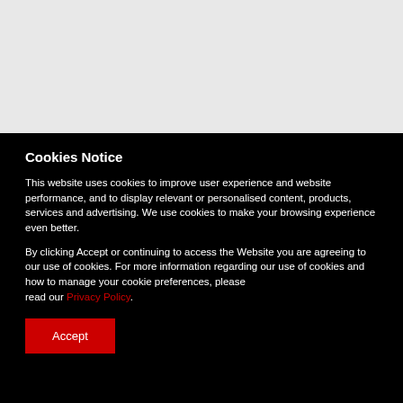[Figure (other): Gray background section at top of page, appearing to be a partially visible webpage or image area]
Cookies Notice
This website uses cookies to improve user experience and website performance, and to display relevant or personalised content, products, services and advertising. We use cookies to make your browsing experience even better.
By clicking Accept or continuing to access the Website you are agreeing to our use of cookies. For more information regarding our use of cookies and how to manage your cookie preferences, please read our Privacy Policy.
Accept